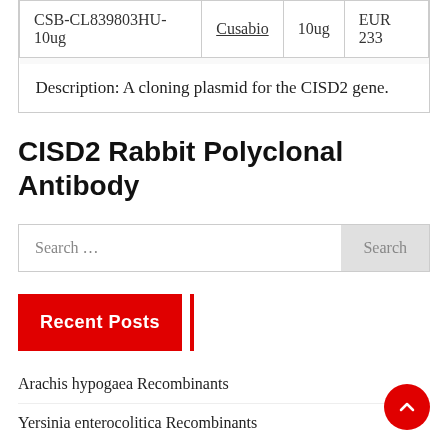|  |  |  |  |
| --- | --- | --- | --- |
| CSB-CL839803HU-10ug | Cusabio | 10ug | EUR 233 |
| Description: A cloning plasmid for the CISD2 gene. |  |  |  |
CISD2 Rabbit Polyclonal Antibody
Search ...
Recent Posts
Arachis hypogaea Recombinants
Yersinia enterocolitica Recombinants